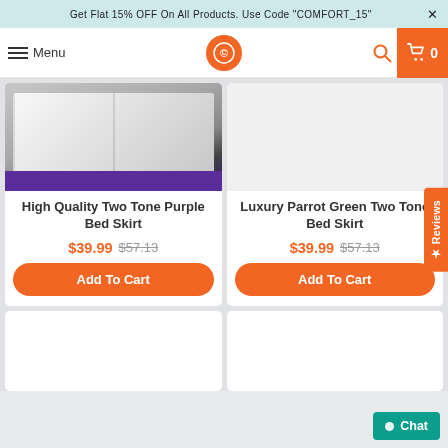Get Flat 15% OFF On All Products. Use Code "COMFORT_15"  ×
[Figure (screenshot): Navigation bar with hamburger menu, Menu text, circular orange logo with CB monogram, orange search icon, and orange shopping cart with 0 count]
[Figure (photo): Partial product image showing white bed skirt with purple/dark base on wooden floor]
High Quality Two Tone Purple Bed Skirt
$39.99  $57.13
Add To Cart
Luxury Parrot Green Two Tone Bed Skirt
$39.99  $57.13
Add To Cart